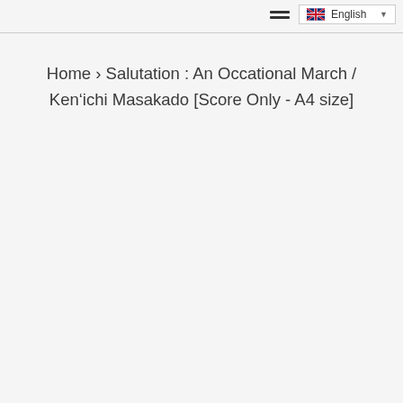English
Home › Salutation : An Occational March / Ken'ichi Masakado [Score Only - A4 size]